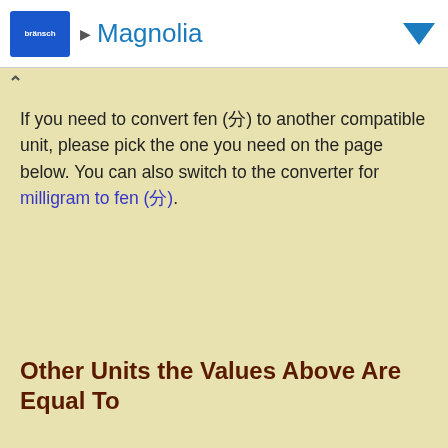Magnolia
If you need to convert fen (分) to another compatible unit, please pick the one you need on the page below. You can also switch to the converter for milligram to fen (分).
Other Units the Values Above Are Equal To
Metric  hide